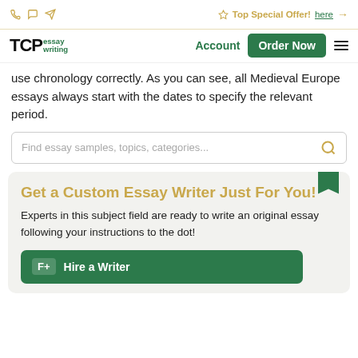Top Special Offer! here →
[Figure (logo): TCPessay writing logo with green Order Now button and Account link]
use chronology correctly. As you can see, all Medieval Europe essays always start with the dates to specify the relevant period.
Find essay samples, topics, categories...
Get a Custom Essay Writer Just For You!
Experts in this subject field are ready to write an original essay following your instructions to the dot!
Hire a Writer